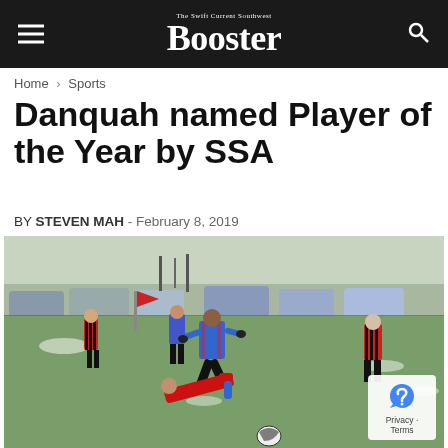The Swift Current Southwest Booster
Home › Sports
Danquah named Player of the Year by SSA
BY STEVEN MAH - February 8, 2019
[Figure (photo): Soccer players competing on a grass field in cold weather, with cars and trees in background. A player in a blue jersey is jumping over a fallen opponent. Other players in red and black striped jerseys are visible.]